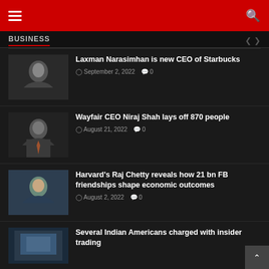Business
Laxman Narasimhan is new CEO of Starbucks — September 2, 2022 — 0 comments
Wayfair CEO Niraj Shah lays off 870 people — August 21, 2022 — 0 comments
Harvard's Raj Chetty reveals how 21 bn FB friendships shape economic outcomes — August 2, 2022 — 0 comments
Several Indian Americans charged with insider trading